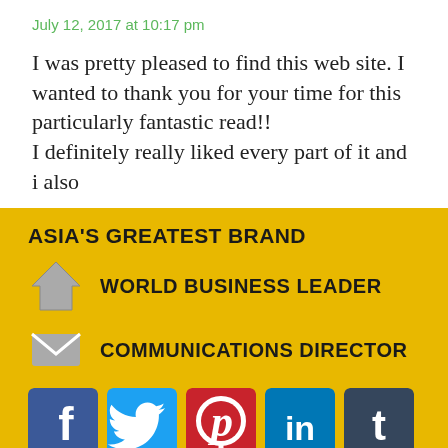July 12, 2017 at 10:17 pm
I was pretty pleased to find this web site. I wanted to thank you for your time for this particularly fantastic read!! I definitely really liked every part of it and i also
ASIA'S GREATEST BRAND
WORLD BUSINESS LEADER
COMMUNICATIONS DIRECTOR
[Figure (infographic): Social media icons: Facebook, Twitter, Pinterest, LinkedIn, Tumblr, YouTube]